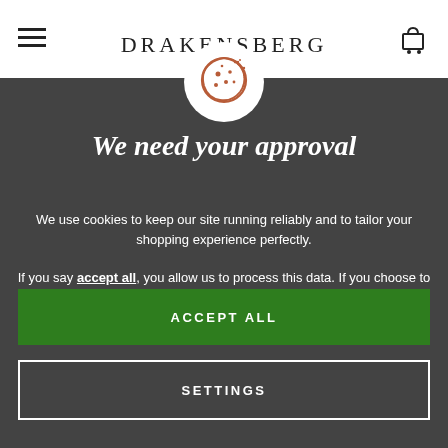DRAKENSBERG
Our many travels have always shown us how great and diverse
[Figure (illustration): Cookie icon — a round cookie with bite taken out, drawn in terracotta/brown outline on white circle background]
We need your approval
We use cookies to keep our site running reliably and to tailor your shopping experience perfectly.
If you say accept all, you allow us to process this data. If you choose to not accept, we will limit our cookies to essential cookies and not tailor our content to you. You can find more information in the settings and in our privacy policy.
ACCEPT ALL
SETTINGS